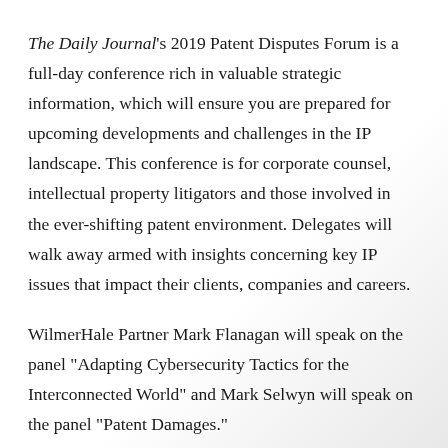The Daily Journal's 2019 Patent Disputes Forum is a full-day conference rich in valuable strategic information, which will ensure you are prepared for upcoming developments and challenges in the IP landscape. This conference is for corporate counsel, intellectual property litigators and those involved in the ever-shifting patent environment. Delegates will walk away armed with insights concerning key IP issues that impact their clients, companies and careers.
WilmerHale Partner Mark Flanagan will speak on the panel "Adapting Cybersecurity Tactics for the Interconnected World" and Mark Selwyn will speak on the panel "Patent Damages."
READ MORE ABOUT THE EVENT